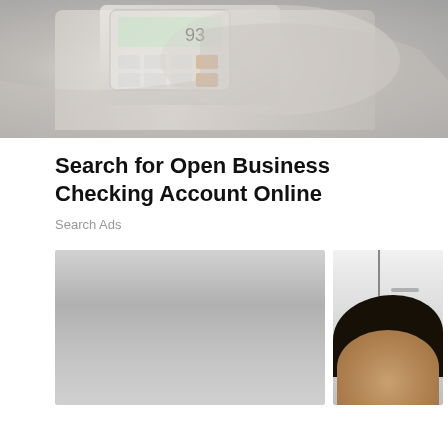[Figure (photo): Close-up photo of hands using a calculator, with papers and white background visible]
Search for Open Business Checking Account Online
Search Ads
[Figure (photo): Large grayish-silver blurred image on the left (possibly blurred calculator or appliance), and smaller photo on the right of a woman with dark hair looking upward near white kitchen cabinets]